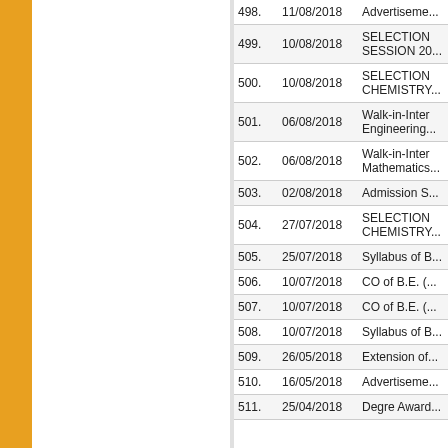| No. | Date | Title |
| --- | --- | --- |
| 498. | 11/08/2018 | Advertiseme... |
| 499. | 10/08/2018 | SELECTION SESSION 20... |
| 500. | 10/08/2018 | SELECTION CHEMISTRY... |
| 501. | 06/08/2018 | Walk-in-Inter Engineering... |
| 502. | 06/08/2018 | Walk-in-Inter Mathematics... |
| 503. | 02/08/2018 | Admission S... |
| 504. | 27/07/2018 | SELECTION CHEMISTRY... |
| 505. | 25/07/2018 | Syllabus of B... |
| 506. | 10/07/2018 | CO of B.E. (... |
| 507. | 10/07/2018 | CO of B.E. (... |
| 508. | 10/07/2018 | Syllabus of B... |
| 509. | 26/05/2018 | Extension of... |
| 510. | 16/05/2018 | Advertiseme... |
| 511. | 25/04/2018 | Degre Award... |